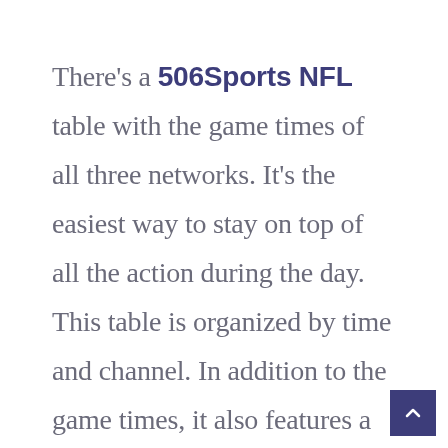There's a 506Sports NFL table with the game times of all three networks. It's the easiest way to stay on top of all the action during the day. This table is organized by time and channel. In addition to the game times, it also features a schedule of all the games on each network. There are even maps with the teams' time slots and the